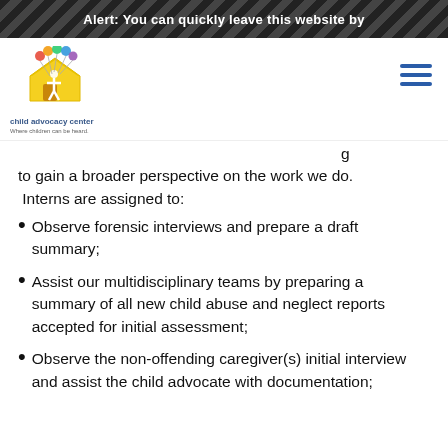Alert: You can quickly leave this website by
[Figure (logo): Child Advocacy Center logo with yellow house, figure, and colorful balloons. Text below reads 'child advocacy center' and tagline 'Where children can be heard.']
to gain a broader perspective on the work we do. Interns are assigned to:
Observe forensic interviews and prepare a draft summary;
Assist our multidisciplinary teams by preparing a summary of all new child abuse and neglect reports accepted for initial assessment;
Observe the non-offending caregiver(s) initial interview and assist the child advocate with documentation;